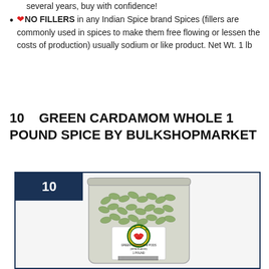several years, buy with confidence!
❤NO FILLERS in any Indian Spice brand Spices (fillers are commonly used in spices to make them free flowing or lessen the costs of production) usually sodium or like product. Net Wt. 1 lb
10   GREEN CARDAMOM WHOLE 1 POUND SPICE BY BULKSHOPMARKET
[Figure (photo): A clear plastic bag filled with green cardamom pods, with a circular logo label on the front reading GREEN CARDAMOM PODS (HOM ELACHI) 1 POUND with a decorative green and yellow border and a red lotus flower in the center. The number 10 appears in a dark navy badge in the upper left corner of the framed image.]